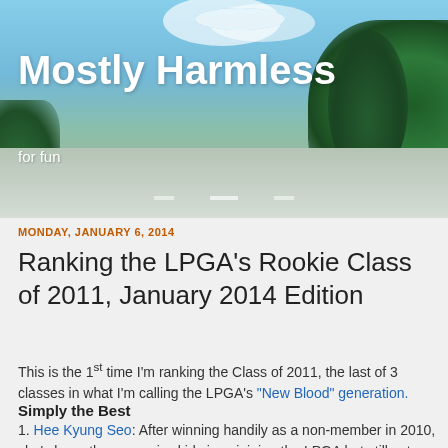[Figure (photo): Blog header banner showing a road with blue sky, white clouds, and green trees on the right side. Text overlaid reads 'Mostly Harmless' and 'for fun'.]
Mostly Harmless
for fun
MONDAY, JANUARY 6, 2014
Ranking the LPGA's Rookie Class of 2011, January 2014 Edition
This is the 1st time I'm ranking the Class of 2011, the last of 3 classes in what I'm calling the LPGA's "New Blood" generation.
Simply the Best
1. Hee Kyung Seo:  After winning handily as a non-member in 2010, she's been the near-miss kid since joining the LPGA but still sets the pace for the '10ers.  Nevertheless, it's time she improved her iron play and putting, for her lead on her